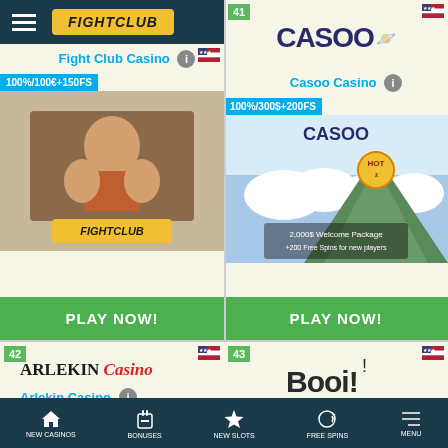[Figure (screenshot): Mobile casino listing app screenshot showing Fight Club Casino, Casoo Casino, Arlekin Casino, and Booi Casino cards with logos, bonus offers, and PLAY NOW buttons, plus a bottom navigation bar]
Fight Club Casino
100%/100€+150FS
PLAY NOW!
Casoo Casino
100%/300$+200FS
PLAY NOW!
41
42
43
Arlekin Casino
100%/€200+150FS
Booi Casino
200%/300$+125FS
NEW CASINOS  BONUSES  NEW SLOTS  FREE SPINS  MENU